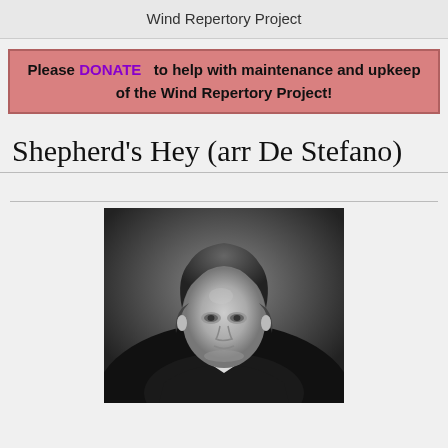Wind Repertory Project
Please DONATE to help with maintenance and upkeep of the Wind Repertory Project!
Shepherd's Hey (arr De Stefano)
[Figure (photo): Black and white portrait photograph of a young man with curly hair wearing a suit, looking slightly upward]